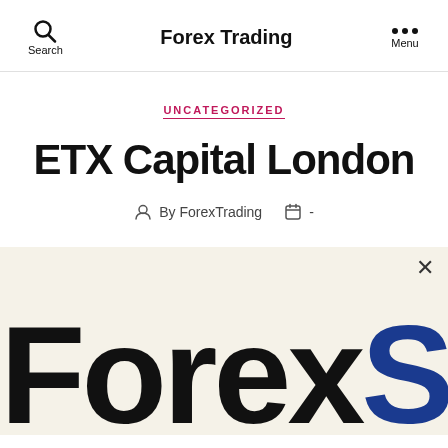Forex Trading
UNCATEGORIZED
ETX Capital London
By ForexTrading  -
[Figure (screenshot): Large bold text reading 'Forex' in black and 'S' in blue, on a beige/cream background. A close (×) button is in the top right corner.]